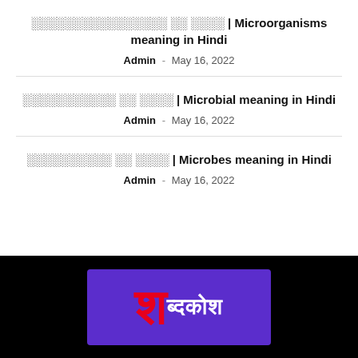माइक्रोऑर्गेनिज्म का अर्थ | Microorganisms meaning in Hindi
Admin - May 16, 2022
माइक्रोबायल का अर्थ | Microbial meaning in Hindi
Admin - May 16, 2022
माइक्रोब्स का अर्थ | Microbes meaning in Hindi
Admin - May 16, 2022
[Figure (logo): Shabdkosh logo — large red Hindi letter 'sha' on purple background with white Hindi text 'bdkosh']